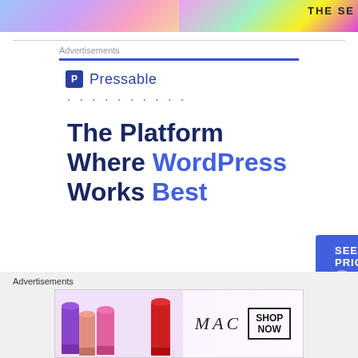[Figure (photo): Two partial images side by side at the top of the page: left shows colorful fashion scene, right shows colorful neon/gaming scene with partial text 'THE SE']
Advertisements
[Figure (logo): Pressable logo with blue square icon containing letter P and the word Pressable in blue next to it, followed by a row of dots]
The Platform Where WordPress Works Best
SEE PRICING
REPORT THIS AD
Advertisements
[Figure (photo): MAC Cosmetics advertisement banner showing colorful lipsticks on the left, MAC italic logo in the center, and a SHOP NOW box on the right]